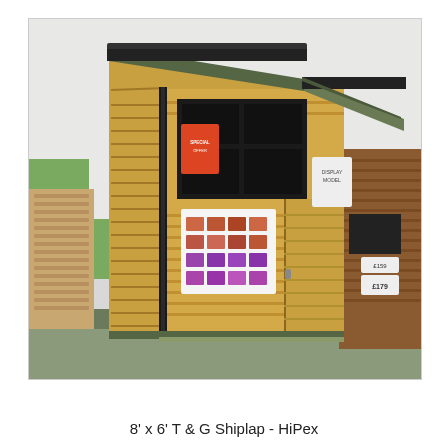[Figure (photo): A wooden garden shed with a green felt apex roof displayed inside a showroom. The shed is made of tongue and groove shiplap timber in a natural pine colour, with black guttering, a window on the front, a side door, and product brochures pinned to the front. To the left are stacked timber fence panels and to the right is part of a darker brown log cabin style shed. The floor platform is covered with green material.]
8' x 6' T & G Shiplap - HiPex